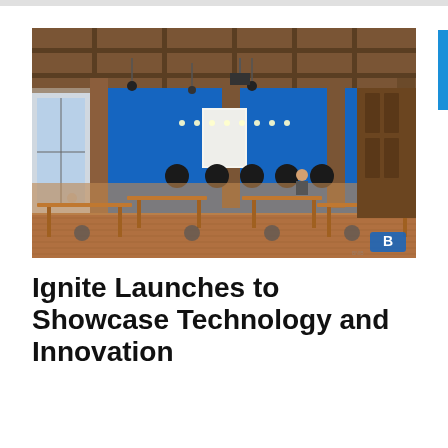[Figure (photo): Interior of a large open coworking or innovation space with wooden beam ceiling, blue accent walls, wooden tables and office chairs arranged across a hardwood floor, pendant and track lighting, and a watermark logo in the bottom right corner.]
Ignite Launches to Showcase Technology and Innovation